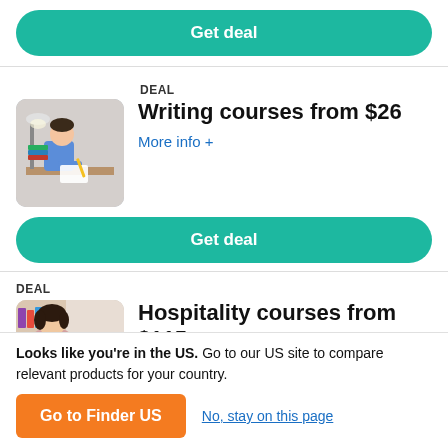Get deal
[Figure (illustration): Child writing/studying at a desk]
DEAL
Writing courses from $26
More info +
Get deal
[Figure (photo): Young woman studying with laptop and books]
DEAL
Hospitality courses from $115
More info +
Looks like you're in the US. Go to our US site to compare relevant products for your country.
Go to Finder US
No, stay on this page